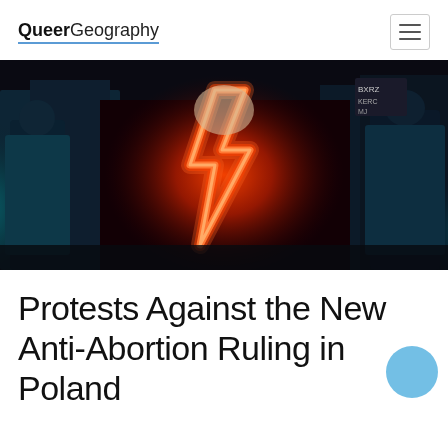QueerGeography
[Figure (photo): Protest photo showing people at night with a neon lightning bolt symbol glowing red/orange in the center, with teal/cyan lighting in the background and signs visible]
Protests Against the New Anti-Abortion Ruling in Poland